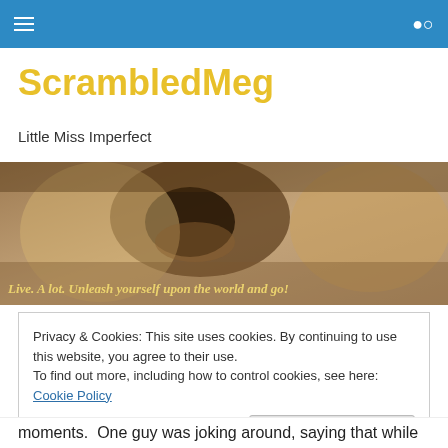Navigation bar with hamburger menu and search icon
ScrambledMeg
Little Miss Imperfect
[Figure (photo): Sepia-toned close-up photo of a person with mouth wide open, appearing to shout. Overlaid text reads: Live. A lot. Unleash yourself upon the world and go!]
Privacy & Cookies: This site uses cookies. By continuing to use this website, you agree to their use.
To find out more, including how to control cookies, see here: Cookie Policy
[Close and accept]
moments.  One guy was joking around, saying that while